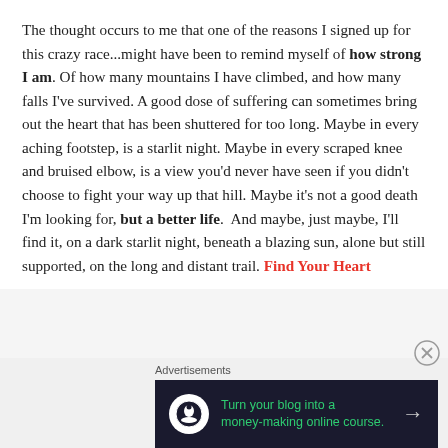The thought occurs to me that one of the reasons I signed up for this crazy race...might have been to remind myself of how strong I am. Of how many mountains I have climbed, and how many falls I've survived. A good dose of suffering can sometimes bring out the heart that has been shuttered for too long. Maybe in every aching footstep, is a starlit night. Maybe in every scraped knee and bruised elbow, is a view you'd never have seen if you didn't choose to fight your way up that hill. Maybe it's not a good death I'm looking for, but a better life.  And maybe, just maybe, I'll find it, on a dark starlit night, beneath a blazing sun, alone but still supported, on the long and distant trail. Find Your Heart
Advertisements
[Figure (infographic): Dark advertisement banner: circle icon with tree/person silhouette, green text 'Turn your blog into a money-making online course.' with arrow]